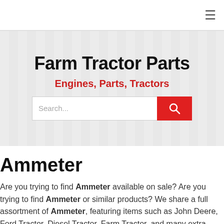≡
Farm Tractor Parts
Engines, Parts, Tractors
Ammeter
Are you trying to find Ammeter available on sale? Are you trying to find Ammeter or similar products? We share a full assortment of Ammeter, featuring items such as John Deere, Ford Tractor, Diesel Tractor, Farm Tractor, and many extra. Browse our sizable selection, or try a simple search